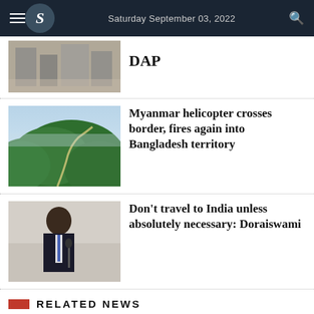Saturday September 03, 2022
[Figure (photo): Aerial/urban photo partially visible at top]
DAP
[Figure (photo): Green mountain hills with winding road, Myanmar border area]
Myanmar helicopter crosses border, fires again into Bangladesh territory
[Figure (photo): Man in suit speaking at a microphone, Doraiswami]
Don't travel to India unless absolutely necessary: Doraiswami
RELATED NEWS
PM Hasina's India visit ke Dhaka-Delhi ties to